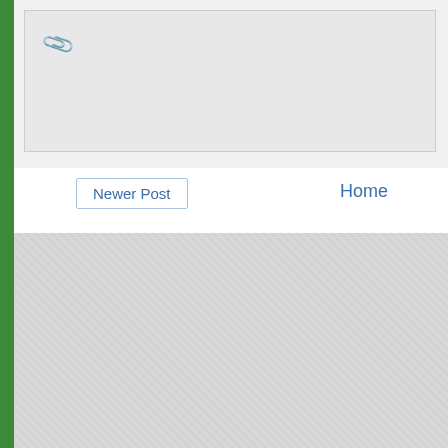[Figure (screenshot): Top gray bar area with paperclip icon, representing an attachment or document area]
Newer Post
Home
[Figure (infographic): Yellow advertisement banner reading 'Request a Call Back' with a 'Click Here Now' button and a smiling woman wearing a headset on the right side]